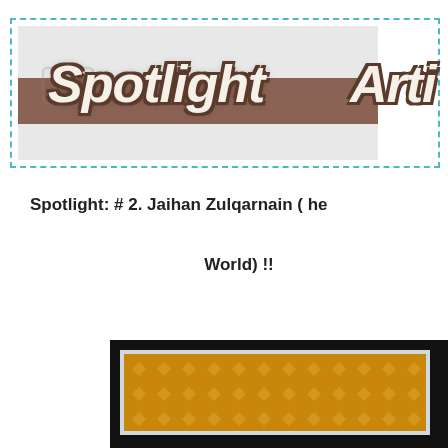[Figure (illustration): Spotlight Artist banner with dashed teal border, grey background box, brown horizontal bar, and large italic script text reading 'Spotlight Arti...' (cropped). Watermark visible on left side.]
Spotlight: # 2. Jaihan Zulqarnain ( he
World) !!
[Figure (photo): Photo of a framed artwork on black background. The frame appears light colored and contains an orange/yellow patterned background with a small figure or object in the center.]